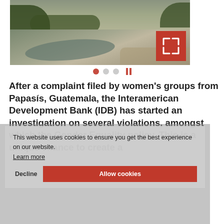[Figure (photo): River landscape photo showing a winding river with sandy banks, vegetation and trees in background, misty/overcast sky. Has an expand/fullscreen button (red square with white arrows icon) in the bottom-right corner.]
This website uses cookies to ensure you get the best experience on our website. Learn more
After a complaint filed by women's groups from Papasís, Guatemala, the Interamerican Development Bank (IDB) has started an investigation on several violations, amongst which the Gender Equality policy. This is a unique chance to create a